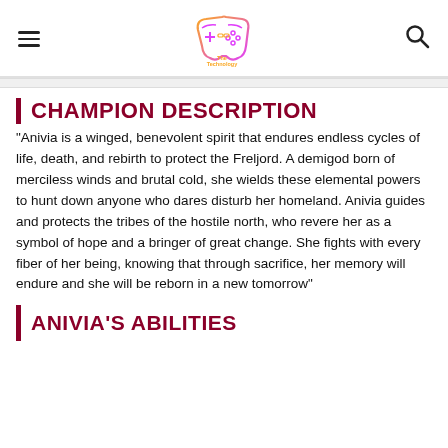The Technology Market
CHAMPION DESCRIPTION
“Anivia is a winged, benevolent spirit that endures endless cycles of life, death, and rebirth to protect the Freljord. A demigod born of merciless winds and brutal cold, she wields these elemental powers to hunt down anyone who dares disturb her homeland. Anivia guides and protects the tribes of the hostile north, who revere her as a symbol of hope and a bringer of great change. She fights with every fiber of her being, knowing that through sacrifice, her memory will endure and she will be reborn in a new tomorrow”
ANIVIA'S ABILITIES